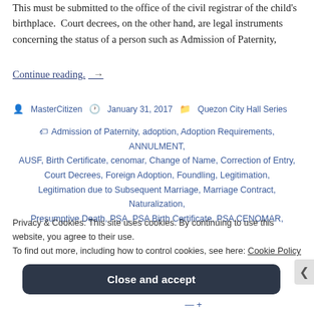This must be submitted to the office of the civil registrar of the child's birthplace. Court decrees, on the other hand, are legal instruments concerning the status of a person such as Admission of Paternity,
Continue reading. →
MasterCitizen   January 31, 2017   Quezon City Hall Series
Admission of Paternity, adoption, Adoption Requirements, ANNULMENT, AUSF, Birth Certificate, cenomar, Change of Name, Correction of Entry, Court Decrees, Foreign Adoption, Foundling, Legitimation, Legitimation due to Subsequent Marriage, Marriage Contract, Naturalization, Presumptive Death, PSA, PSA Birth Certificate, PSA CENOMAR,
Privacy & Cookies: This site uses cookies. By continuing to use this website, you agree to their use.
To find out more, including how to control cookies, see here: Cookie Policy
Close and accept